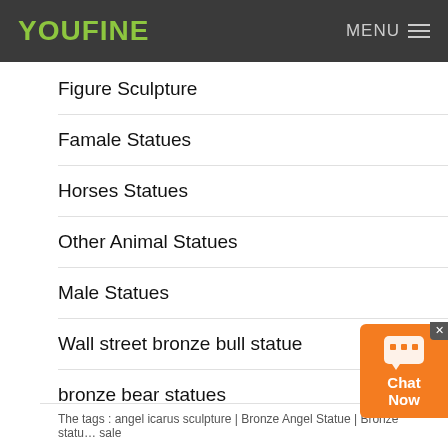YOUFINE   MENU
Figure Sculpture
Famale Statues
Horses Statues
Other Animal Statues
Male Statues
Wall street bronze bull statue
bronze bear statues
bronze deer statue
The tags : angel icarus sculpture | Bronze Angel Statue | Bronze statue sale
[Figure (other): Orange chat widget with speech bubble icon and 'Chat Now' text]